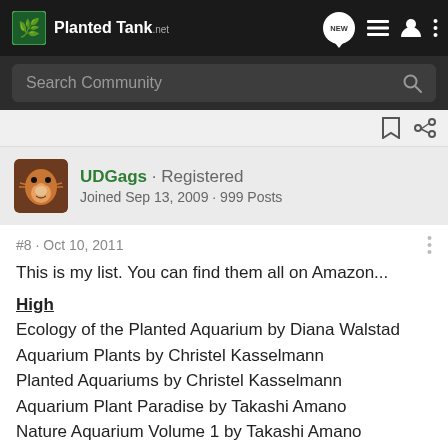Planted Tank · NEW (nav icon) · search community
UDGags · Registered
Joined Sep 13, 2009 · 999 Posts
#8 · Oct 10, 2011
This is my list. You can find them all on Amazon...
High
Ecology of the Planted Aquarium by Diana Walstad
Aquarium Plants by Christel Kasselmann
Planted Aquariums by Christel Kasselmann
Aquarium Plant Paradise by Takashi Amano
Nature Aquarium Volume 1 by Takashi Amano